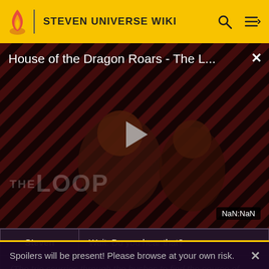STEVEN UNIVERSE WIKI
[Figure (screenshot): Video thumbnail for 'House of the Dragon Roars - The L...' with a play button overlay, dark diagonal stripe background, two figures in the foreground, THE LOOP watermark, and NaN:NaN time display]
| Steven | Wait. Do you hear that? |
| (The trio scurries through the bushes to find the source of |  |
Spoilers will be present! Please browse at your own risk.